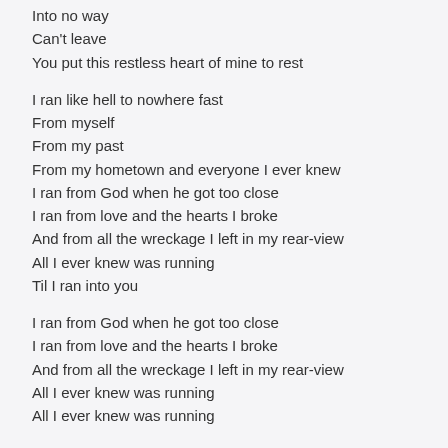Into no way
Can't leave
You put this restless heart of mine to rest

I ran like hell to nowhere fast
From myself
From my past
From my hometown and everyone I ever knew
I ran from God when he got too close
I ran from love and the hearts I broke
And from all the wreckage I left in my rear-view
All I ever knew was running
Til I ran into you

I ran from God when he got too close
I ran from love and the hearts I broke
And from all the wreckage I left in my rear-view
All I ever knew was running
All I ever knew was running